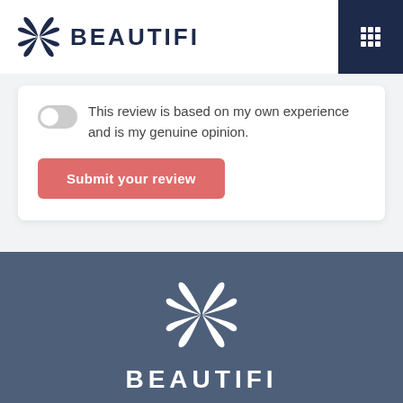[Figure (logo): Beautifi logo with butterfly/leaf icon and BEAUTIFI text in dark navy]
[Figure (other): Dark navy hamburger/grid menu icon button in top right corner]
This review is based on my own experience and is my genuine opinion.
Submit your review
[Figure (logo): Beautifi white butterfly/leaf logo icon on dark blue-gray background]
BEAUTIFI